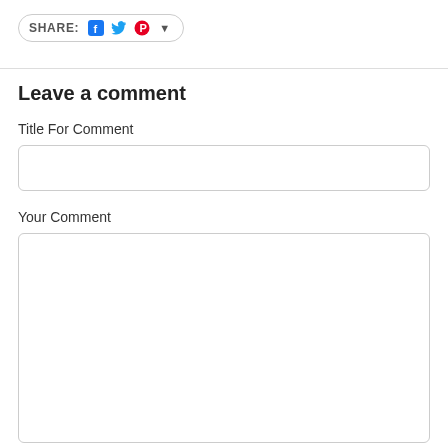[Figure (other): Share bar with social media icons: Facebook (blue F), Twitter (blue bird), Pinterest (red P), and a dropdown arrow, inside a rounded pill-shaped button]
Leave a comment
Title For Comment
Your Comment